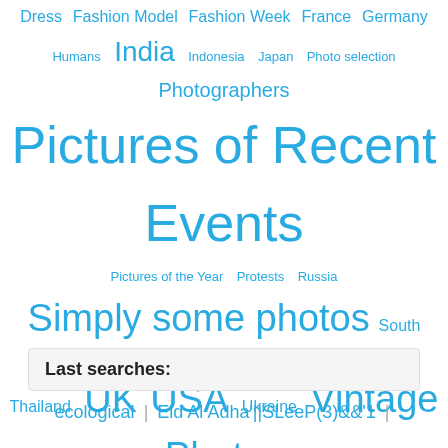[Figure (infographic): Tag cloud with various photography and travel category tags in cyan/light blue color at different font sizes, including: Dress, Fashion Model, Fashion Week, France, Germany, Humans, India, Indonesia, Japan, Photo selection, Photographers, Pictures of Recent Events, Pictures of the Year, Protests, Russia, Simply some photos, South Korea, Spain, Thailand, UK, USA, Ukraine, Vintage Photos, Zoo, animals, birds, drawing, models, nature, painting, sport, travel, underwater, war]
Last searches:
ecological | Eid Al Adha'||SLeeP(3)&&'1 |